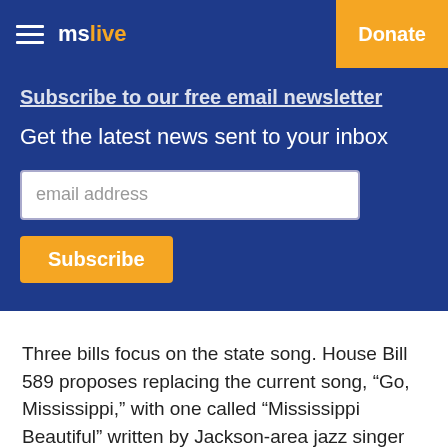mslive | Donate
Subscribe to our free email newsletter
Get the latest news sent to your inbox
email address
Subscribe
Three bills focus on the state song. House Bill 589 proposes replacing the current song, “Go, Mississippi,” with one called “Mississippi Beautiful” written by Jackson-area jazz singer Pam Confer.